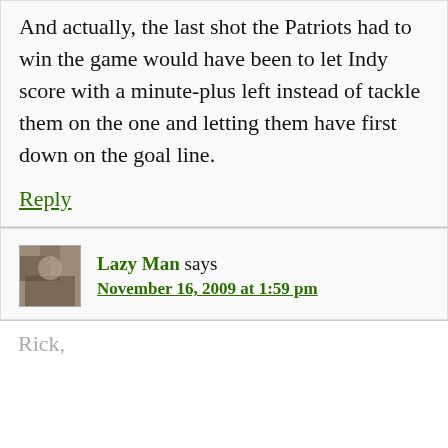And actually, the last shot the Patriots had to win the game would have been to let Indy score with a minute-plus left instead of tackle them on the one and letting them have first down on the goal line.
Reply
Lazy Man says
November 16, 2009 at 1:59 pm
Rick,